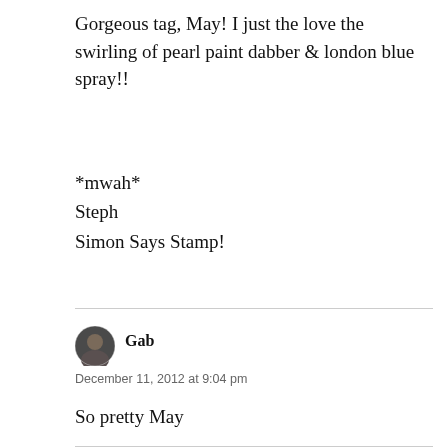Gorgeous tag, May! I just the love the swirling of pearl paint dabber & london blue spray!!
*mwah*
Steph
Simon Says Stamp!
Gab
December 11, 2012 at 9:04 pm
So pretty May
Beth W
December 12, 2012 at 6:41 pm